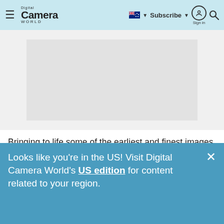Digital Camera World — hamburger menu, flag selector, Subscribe, Sign in, Search
[Figure (photo): Grey placeholder image area representing a photograph]
Bringing to life some of the earliest and finest images of the early 19th Century Arabian Peninsula, this exhibition is the first time these photographs will have been on public display and showcased for over a century!
Looks like you're in the US! Visit Digital Camera World's US edition for content related to your region.